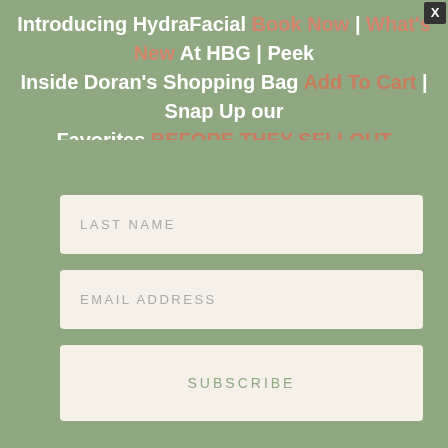Introducing HydraFacial Book Now | What's New At HBG | Peek Inside Doran's Shopping Bag Add To Cart | Snap Up our Favorites BEFORE THEY SELLOUT
[Figure (screenshot): Email subscription form with LAST NAME and EMAIL ADDRESS input fields on a sage green background, plus a SUBSCRIBE button]
We are using cookies to give you the best experience on our website.
You can find out more about which cookies we are using or switch them off in settings.
[Figure (screenshot): Advertisement banner: Save up to 70% at Ollie's - Ollie's Bargain Outlet, with yellow Ollie's logo and blue directional arrow icon]